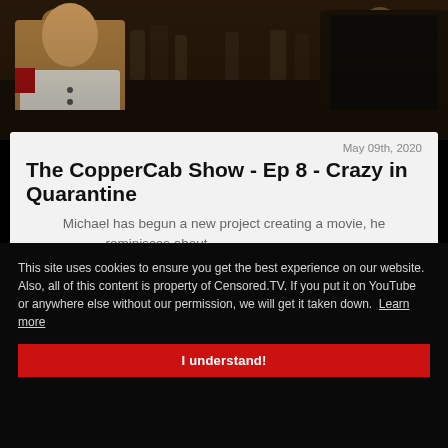[Figure (photo): Outdoor scene with a person in a white shirt on the left and a person in dark clothing on the right, with a crowd and street lights in the background at dusk]
May 09th, 2020
The CopperCab Show - Ep 8 - Crazy in Quarantine
Michael has begun a new project creating a movie, he reminisces about the past and ... in large ...
[Figure (photo): Shopping cart with blue and white items, angled view from above]
This site uses cookies to ensure you get the best experience on our website.
Also, all of this content is property of Censored.TV. If you put it on YouTube or anywhere else without our permission, we will get it taken down.  Learn more
I understand!